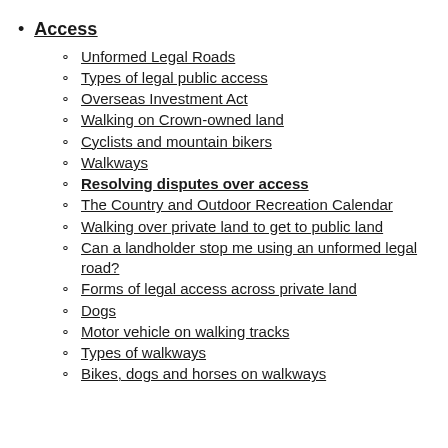Access
Unformed Legal Roads
Types of legal public access
Overseas Investment Act
Walking on Crown-owned land
Cyclists and mountain bikers
Walkways
Resolving disputes over access
The Country and Outdoor Recreation Calendar
Walking over private land to get to public land
Can a landholder stop me using an unformed legal road?
Forms of legal access across private land
Dogs
Motor vehicle on walking tracks
Types of walkways
Bikes, dogs and horses on walkways